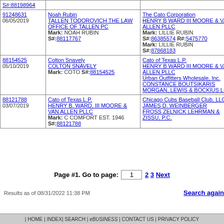| Case/Date | Plaintiff | Defendant |
| --- | --- | --- |
| S#:88198964 |  |  |
| 91248631
06/05/2019 | Noah Rubin
TALLEN TODOROVICH THE LAW OFFICE OF TALLEN PC
Mark: NOAH RUBIN
S#:88117767 | The Cato Corporation
HENRY B WARD III MOORE & VAN ALLEN PLLC
Mark: LILLIE RUBIN
S#:86385574 R#:5475770
Mark: LILLIE RUBIN
S#:87868183 |
| 88154525
05/10/2019 | Colton Snavely
COLTON SNAVELY
Mark: COTO S#:88154525 | Cato of Texas L.P.
HENRY B WARD III MOORE & VAN ALLEN PLLC
Urban Outfitters Wholesale, Inc.
CONSTANCE BOUTSIKARIS
MORGAN, LEWIS & BOCKIUS LLP |
| 88121788
03/07/2019 | Cato of Texas L.P.
HENRY B. WARD, III MOORE & VAN ALLEN PLLC
Mark: C COMFORT EST. 1946 S#:88121788 | Chicago Cubs Baseball Club, LLC
JAMES D. WEINBERGER
FROSS ZELNICK LEHRMAN & ZISSU, P.C. |
Page #1. Go to page: 1  2 3 Next
Results as of 08/31/2022 11:38 PM
Search again
| HOME | INDEX | SEARCH | eBUSINESS | CONTACT US | PRIVACY POLICY